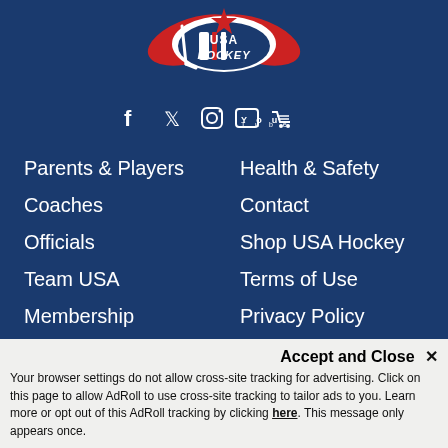[Figure (logo): USA Hockey logo with red white and blue hockey stick and star design on dark blue background]
[Figure (infographic): Row of social media icons: Facebook, Twitter, Instagram, YouTube, Shopping cart - white icons on dark blue]
Parents & Players
Coaches
Officials
Team USA
Membership
Health & Safety
Contact
Shop USA Hockey
Terms of Use
Privacy Policy
Help
Proud Partners in Hockey
Accept and Close ✕
Your browser settings do not allow cross-site tracking for advertising. Click on this page to allow AdRoll to use cross-site tracking to tailor ads to you. Learn more or opt out of this AdRoll tracking by clicking here. This message only appears once.